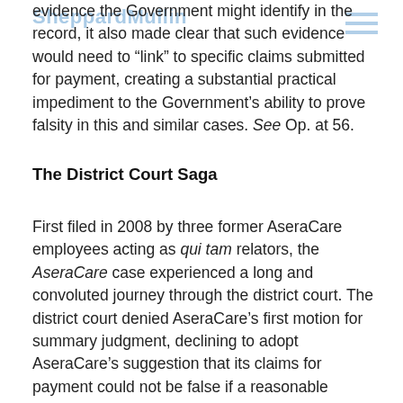SheppardMullin
evidence the Government might identify in the record, it also made clear that such evidence would need to “link” to specific claims submitted for payment, creating a substantial practical impediment to the Government’s ability to prove falsity in this and similar cases. See Op. at 56.
The District Court Saga
First filed in 2008 by three former AseraCare employees acting as qui tam relators, the AseraCare case experienced a long and convoluted journey through the district court. The district court denied AseraCare’s first motion for summary judgment, declining to adopt AseraCare’s suggestion that its claims for payment could not be false if a reasonable physician could have held the